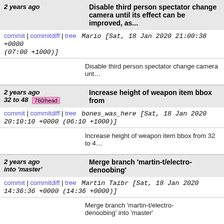2 years ago — Disable third person spectator change camera until its effect can be improved, as...
commit | commitdiff | tree   Mario [Sat, 18 Jan 2020 21:00:38 +0000 (07:00 +1000)]
Disable third person spectator change camera until its effect can be improved, as...
2 years ago — Increase height of weapon item bbox from 32 to 48  760/head
commit | commitdiff | tree   bones_was_here [Sat, 18 Jan 2020 20:10:10 +0000 (06:10 +1000)]
Increase height of weapon item bbox from 32 to 48
2 years ago — Merge branch 'martin-t/electro-denoobing' into 'master'
commit | commitdiff | tree   Martin Taibr [Sat, 18 Jan 2020 14:36:36 +0000 (14:36 +0000)]
Merge branch 'martin-t/electro-denoobing' into 'master'

Electro: midair combos

See merge request xonotic/xonotic-data.pk3dir!757